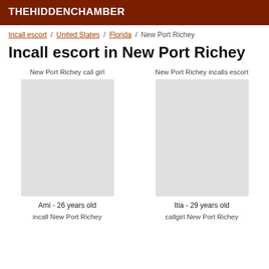THEHIDDENCHAMBER
Incall escort / United States / Florida / New Port Richey
Incall escort in New Port Richey
New Port Richey call girl
New Port Richey incalls escort
Ami - 26 years old
incall New Port Richey
Itia - 29 years old
callgirl New Port Richey